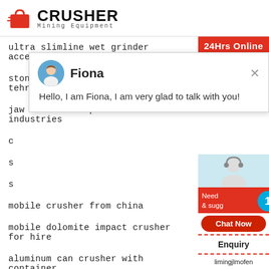[Figure (logo): Crusher Mining Equipment logo with red shopping bag icon and bold CRUSHER text]
ultra slimline wet grinder accessories
stone crusher and quarry plant in tehran
jaw crusher in pakistan industries
c
s
s
mobile crusher from china
mobile dolomite impact crusher for hire
aluminum can crusher with container
used quarry equipment for sale in ireland
manufacture impact type stone crusher machi
stone crusher mesin afrika selatan
[Figure (screenshot): Chat popup with avatar of Fiona, name Fiona, message: Hello, I am Fiona, I am very glad to talk with you!]
24Hrs Online
Need & suggestions
1
Chat Now
Enquiry
limingjlmofen@sina.com